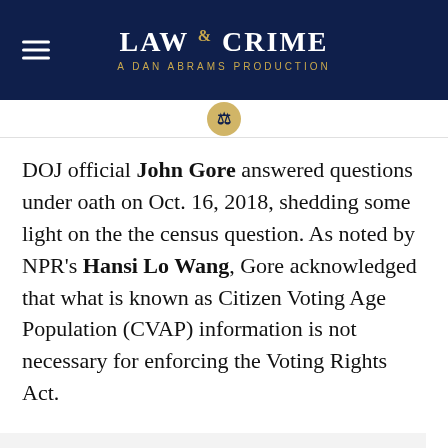LAW & CRIME — A DAN ABRAMS PRODUCTION
DOJ official John Gore answered questions under oath on Oct. 16, 2018, shedding some light on the the census question. As noted by NPR's Hansi Lo Wang, Gore acknowledged that what is known as Citizen Voting Age Population (CVAP) information is not necessary for enforcing the Voting Rights Act.
BREAKING: @TheJusticeDept official John Gore — drafter of DOJ's request for citizenship question on #2020census —